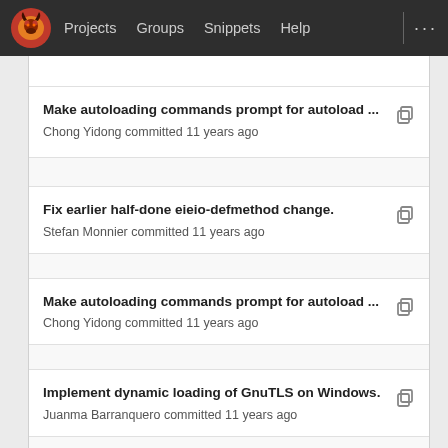Projects  Groups  Snippets  Help
Make autoloading commands prompt for autoload ...
Chong Yidong committed 11 years ago
Fix earlier half-done eieio-defmethod change.
Stefan Monnier committed 11 years ago
Make autoloading commands prompt for autoload ...
Chong Yidong committed 11 years ago
Implement dynamic loading of GnuTLS on Windows.
Juanma Barranquero committed 11 years ago
diary-lib.el fix for bug#8583.